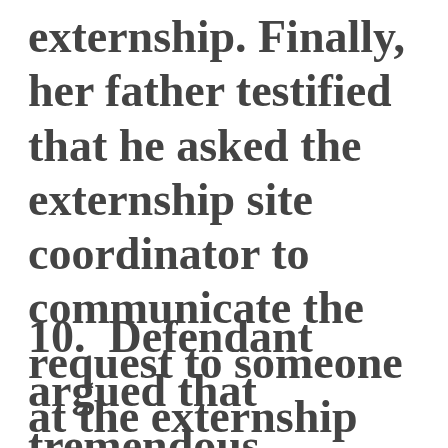externship. Finally, her father testified that he asked the externship site coordinator to communicate the request to someone at the externship site.
10.  Defendant argued that tremendous deference should be